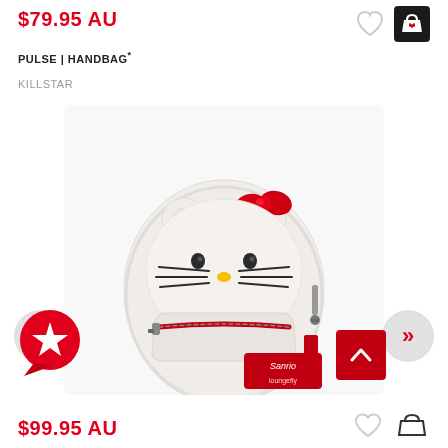$79.95 AU
PULSE | HANDBAG*
KILLSTAR
[Figure (photo): Hello Kitty themed white mini backpack with 3D cat ears, red bow, and red zipper. Features Sanrio branding patch. Navigation arrows and favourite/scroll buttons visible around image.]
$99.95 AU